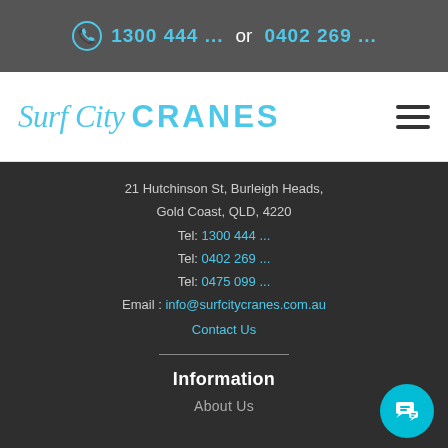1300 444 ... or 0402 269 ...
[Figure (logo): Surf City CRANES logo in blue italic and bold text]
21 Hutchinson St, Burleigh Heads, Gold Coast, QLD, 4220
Tel: 1300 444 ...
Tel: 0402 269 ...
Tel: 0475 099 ...
Email : info@surfcitycranes.com.au
Contact Us
Information
About Us